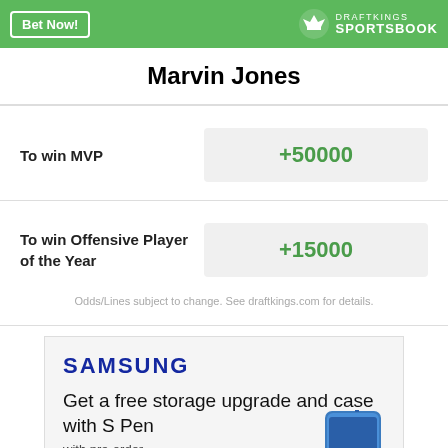[Figure (screenshot): DraftKings Sportsbook header bar with 'Bet Now!' button and DraftKings logo]
Marvin Jones
| Bet | Odds |
| --- | --- |
| To win MVP | +50000 |
| To win Offensive Player of the Year | +15000 |
Odds/Lines subject to change. See draftkings.com for details.
[Figure (screenshot): Samsung advertisement: 'Get a free storage upgrade and case with S Pen with pre-order' with phone image]